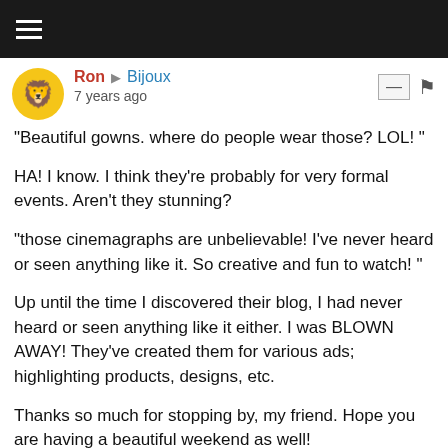Navigation bar with hamburger menu
Ron → Bijoux
7 years ago
"Beautiful gowns. where do people wear those? LOL! "
HA! I know. I think they're probably for very formal events. Aren't they stunning?
"those cinemagraphs are unbelievable! I've never heard or seen anything like it. So creative and fun to watch! "
Up until the time I discovered their blog, I had never heard or seen anything like it either. I was BLOWN AWAY! They've created them for various ads; highlighting products, designs, etc.
Thanks so much for stopping by, my friend. Hope you are having a beautiful weekend as well!
Elaine